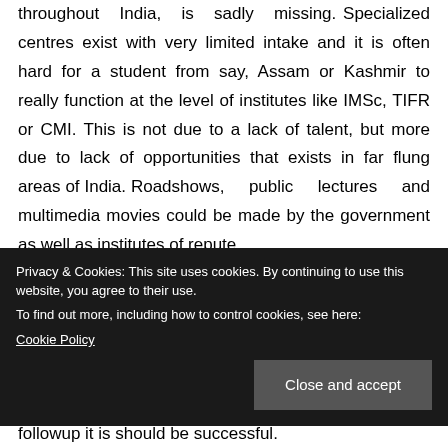throughout India, is sadly missing. Specialized centres exist with very limited intake and it is often hard for a student from say, Assam or Kashmir to really function at the level of institutes like IMSc, TIFR or CMI. This is not due to a lack of talent, but more due to lack of opportunities that exists in far flung areas of India. Roadshows, public lectures and multimedia movies could be made by the government as well as institutes of repute
Privacy & Cookies: This site uses cookies. By continuing to use this website, you agree to their use. To find out more, including how to control cookies, see here: Cookie Policy
followup it is should be successful.